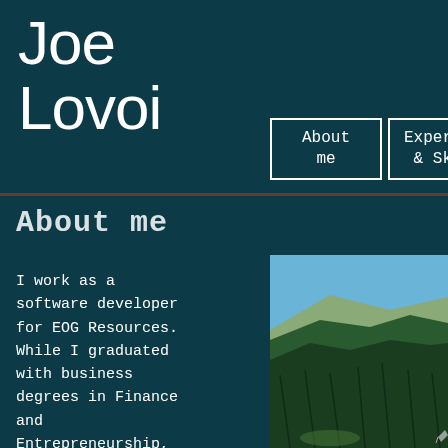Joe Lovoi
About me
Experience & Skills
About me
I work as a software developer for EOG Resources. While I graduated with business degrees in Finance and Entrepreneurship, I decided that I wanted to pursue
[Figure (photo): Outdoor landscape photo showing a mountain valley with dense green pine forest covering slopes and a blue sky above.]